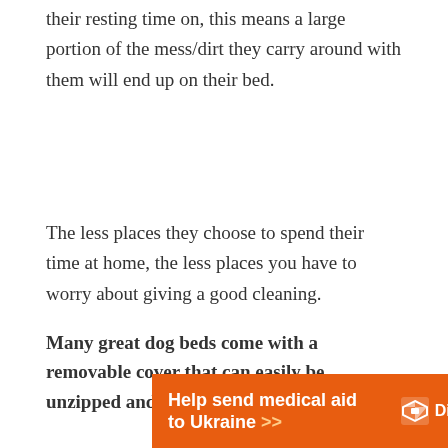their resting time on, this means a large portion of the mess/dirt they carry around with them will end up on their bed.
The less places they choose to spend their time at home, the less places you have to worry about giving a good cleaning.
Many great dog beds come with a removable cover that can easily be unzipped and thrown in your washer.
[Figure (other): Orange advertisement banner for Direct Relief: 'Help send medical aid to Ukraine >>' with Direct Relief logo on the right]